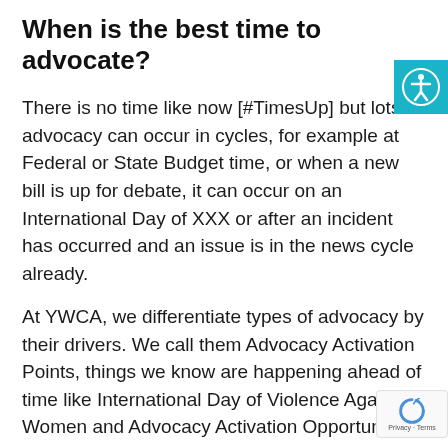When is the best time to advocate?
There is no time like now [#TimesUp] but lots of advocacy can occur in cycles, for example at Federal or State Budget time, or when a new bill is up for debate, it can occur on an International Day of XXX or after an incident has occurred and an issue is in the news cycle already.
At YWCA, we differentiate types of advocacy by their drivers. We call them Advocacy Activation Points, things we know are happening ahead of time like International Day of Violence Against Women and Advocacy Activation Opportunities, things